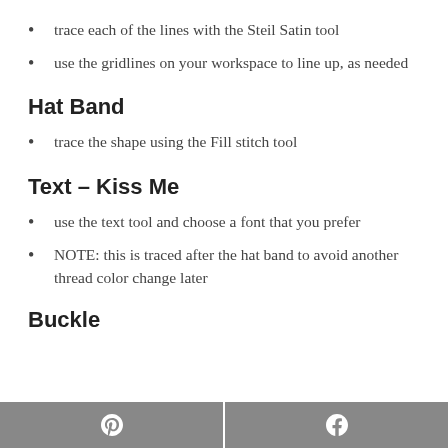trace each of the lines with the Steil Satin tool
use the gridlines on your workspace to line up, as needed
Hat Band
trace the shape using the Fill stitch tool
Text – Kiss Me
use the text tool and choose a font that you prefer
NOTE: this is traced after the hat band to avoid another thread color change later
Buckle
Pinterest | Facebook